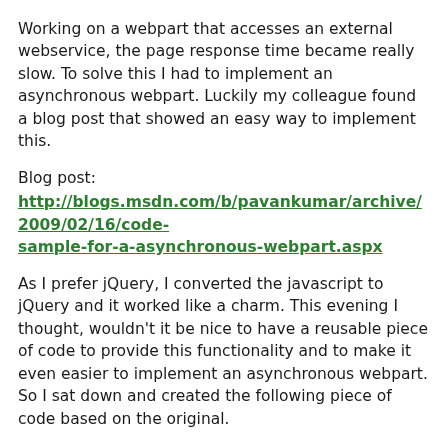Working on a webpart that accesses an external webservice, the page response time became really slow. To solve this I had to implement an asynchronous webpart. Luckily my colleague found a blog post that showed an easy way to implement this.
Blog post: http://blogs.msdn.com/b/pavankumar/archive/2009/02/16/code-sample-for-a-asynchronous-webpart.aspx
As I prefer jQuery, I converted the javascript to jQuery and it worked like a charm. This evening I thought, wouldn't it be nice to have a reusable piece of code to provide this functionality and to make it even easier to implement an asynchronous webpart. So I sat down and created the following piece of code based on the original.
[ToolboxItemAttribute(false)]
public abstract class AsyncWebPartBase : WebPart, ICallback

private string _id;
private string _asyncContent;
private string _waitImageUrl = "/_layouts/IMAGES/gears_anv4